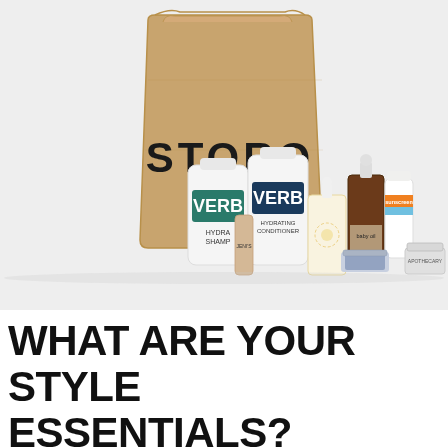[Figure (photo): Product photo showing a kraft paper STORQ bag in the background with various beauty/personal care products arranged in front: two VERB bottles (Hydrating Shampoo and Hydrating Conditioner), a small brown cardboard tube, a dropper bottle with floral label, a dark amber glass dropper bottle labeled 'baby oil', a sunscreen tube, a small glass jar with blue patterned label, and a small tin labeled 'Apothecary'. Light gray/white background.]
WHAT ARE YOUR STYLE ESSENTIALS?